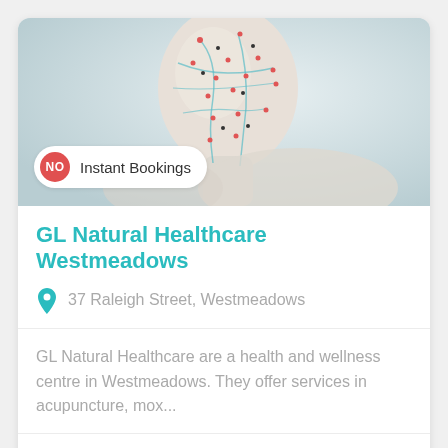[Figure (photo): Acupuncture head model/mannequin with meridian points marked in red, black, and connected by teal/blue lines, on a light grey background. Overlaid badge reads 'NO Instant Bookings'.]
GL Natural Healthcare Westmeadows
37 Raleigh Street, Westmeadows
GL Natural Healthcare are a health and wellness centre in Westmeadows. They offer services in acupuncture, mox...
FIND OUT MORE